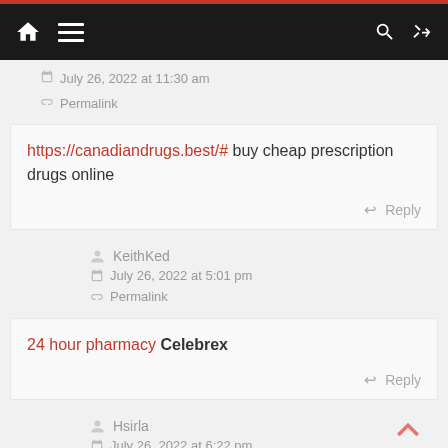Navigation bar with home, menu, search, and shuffle icons
July 26, 2022 at 11:30 am
Permalink
https://canadiandrugs.best/# buy cheap prescription drugs online
Reply
KeithKed
July 26, 2022 at 5:01 pm
Permalink
24 hour pharmacy Celebrex
Reply
Hsirla
July 26, 2022 at 6:22 pm